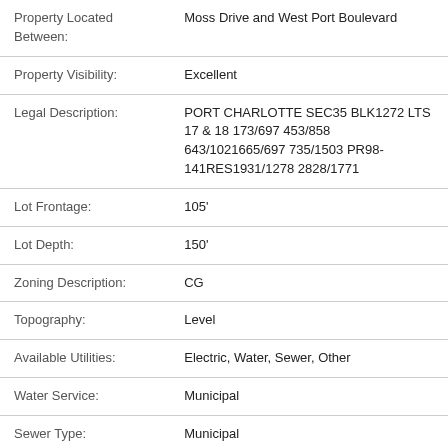| Field | Value |
| --- | --- |
| Property Located Between: | Moss Drive and West Port Boulevard |
| Property Visibility: | Excellent |
| Legal Description: | PORT CHARLOTTE SEC35 BLK1272 LTS 17 & 18 173/697 453/858 643/1021665/697 735/1503 PR98-141RES1931/1278 2828/1771 |
| Lot Frontage: | 105' |
| Lot Depth: | 150' |
| Zoning Description: | CG |
| Topography: | Level |
| Available Utilities: | Electric, Water, Sewer, Other |
| Water Service: | Municipal |
| Sewer Type: | Municipal |